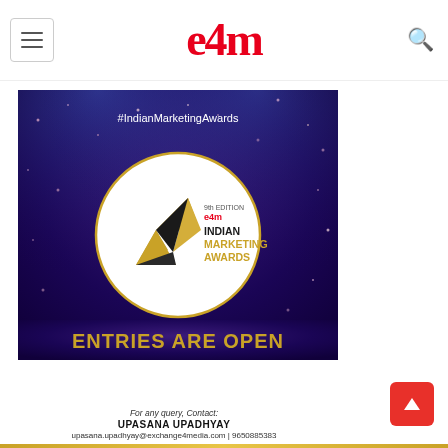e4m
[Figure (illustration): e4m Indian Marketing Awards promotional banner. Purple/blue background with spotlights and gold star confetti. Central white circle contains the e4m Indian Marketing Awards 9th Edition logo with gold trophy icon. Text reads '#IndianMarketingAwards' at top and 'ENTRIES ARE OPEN' in gold at bottom.]
For any query, Contact:
UPASANA UPADHYAY
upasana.upadhyay@exchange4media.com | 9650885383